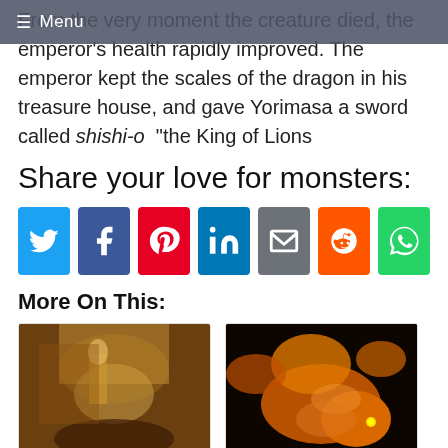≡ Menu
From the very moment the creature died, the emperor's health rapidly improved. The emperor kept the scales of the dragon in his treasure house, and gave Yorimasa a sword called shishi-o "the King of Lions
Share your love for monsters:
[Figure (infographic): Row of 7 social media share buttons: Twitter (blue), Facebook (dark blue), Pinterest (red), LinkedIn (blue), Email (grey), Reddit (orange), WhatsApp (green)]
More On This:
[Figure (photo): Painting of Saint George on horseback slaying a dragon, classical artwork with warm brown tones]
[Figure (illustration): Digital illustration of an orange/golden dragon on black background, curled with wings and glowing yellow eyes]
Dragons and Dragon Lore By...
Dragons and Elements...